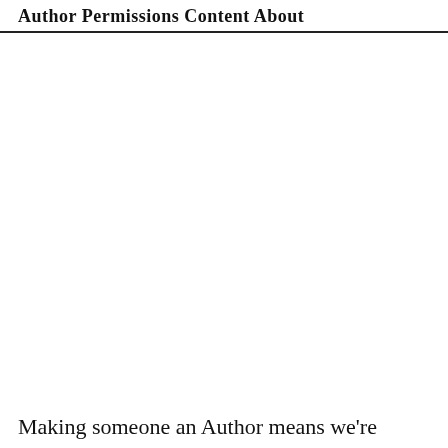Author Permissions Content About
Making someone an Author means we're